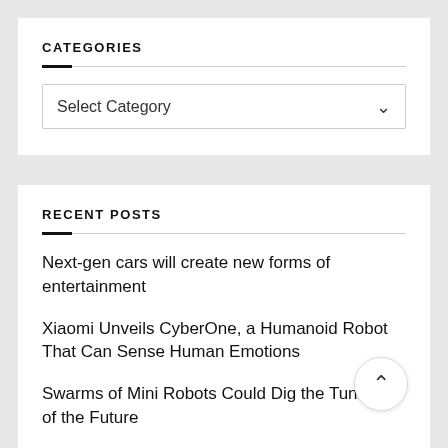CATEGORIES
[Figure (screenshot): A dropdown select box with label 'Select Category' and a chevron down arrow on the right]
RECENT POSTS
Next-gen cars will create new forms of entertainment
Xiaomi Unveils CyberOne, a Humanoid Robot That Can Sense Human Emotions
Swarms of Mini Robots Could Dig the Tunnels of the Future
MIT Researchers Develop Insect-Sized Robot Fireflies That Emit Light When Flying